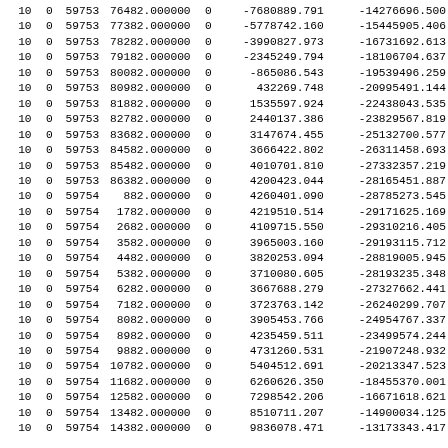| col1 | col2 | col3 | col4 | col5 | col6 | col7 |
| --- | --- | --- | --- | --- | --- | --- |
| 10 | 0 | 59753 | 76482.000000 | 0 | -7680889.791 | -14276696.500 |
| 10 | 0 | 59753 | 77382.000000 | 0 | -5778742.160 | -15445905.406 |
| 10 | 0 | 59753 | 78282.000000 | 0 | -3990827.973 | -16731692.613 |
| 10 | 0 | 59753 | 79182.000000 | 0 | -2345249.794 | -18106704.637 |
| 10 | 0 | 59753 | 80082.000000 | 0 | -865086.543 | -19539496.259 |
| 10 | 0 | 59753 | 80982.000000 | 0 | 432269.748 | -20995491.144 |
| 10 | 0 | 59753 | 81882.000000 | 0 | 1535597.924 | -22438043.535 |
| 10 | 0 | 59753 | 82782.000000 | 0 | 2440137.386 | -23829567.819 |
| 10 | 0 | 59753 | 83682.000000 | 0 | 3147674.455 | -25132700.577 |
| 10 | 0 | 59753 | 84582.000000 | 0 | 3666422.802 | -26311458.693 |
| 10 | 0 | 59753 | 85482.000000 | 0 | 4010701.810 | -27332357.219 |
| 10 | 0 | 59753 | 86382.000000 | 0 | 4200423.044 | -28165451.887 |
| 10 | 0 | 59754 | 882.000000 | 0 | 4260401.090 | -28785273.545 |
| 10 | 0 | 59754 | 1782.000000 | 0 | 4219510.514 | -29171625.169 |
| 10 | 0 | 59754 | 2682.000000 | 0 | 4109715.550 | -29310216.405 |
| 10 | 0 | 59754 | 3582.000000 | 0 | 3965003.160 | -29193115.712 |
| 10 | 0 | 59754 | 4482.000000 | 0 | 3820253.094 | -28819005.945 |
| 10 | 0 | 59754 | 5382.000000 | 0 | 3710080.605 | -28193235.348 |
| 10 | 0 | 59754 | 6282.000000 | 0 | 3667688.279 | -27327662.441 |
| 10 | 0 | 59754 | 7182.000000 | 0 | 3723763.142 | -26240299.707 |
| 10 | 0 | 59754 | 8082.000000 | 0 | 3905453.766 | -24954767.337 |
| 10 | 0 | 59754 | 8982.000000 | 0 | 4235459.511 | -23499574.244 |
| 10 | 0 | 59754 | 9882.000000 | 0 | 4731260.531 | -21907248.932 |
| 10 | 0 | 59754 | 10782.000000 | 0 | 5404512.691 | -20213347.523 |
| 10 | 0 | 59754 | 11682.000000 | 0 | 6260626.350 | -18455370.001 |
| 10 | 0 | 59754 | 12582.000000 | 0 | 7298542.206 | -16671618.621 |
| 10 | 0 | 59754 | 13482.000000 | 0 | 8510711.207 | -14900034.125 |
| 10 | 0 | 59754 | 14382.000000 | 0 | ... | ... |